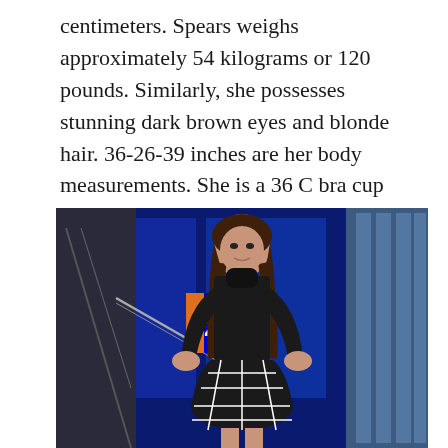centimeters. Spears weighs approximately 54 kilograms or 120 pounds. Similarly, she possesses stunning dark brown eyes and blonde hair. 36-26-39 inches are her body measurements. She is a 36 C bra cup size.
[Figure (photo): A woman with long brown hair wearing a black turtleneck top and a black and white plaid skirt, posing with hands on hips in front of a Boston 25 news studio backdrop with blue lighting.]